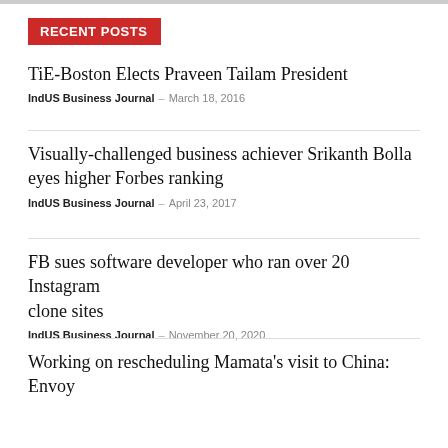RECENT POSTS
TiE-Boston Elects Praveen Tailam President
IndUS Business Journal – March 18, 2016
Visually-challenged business achiever Srikanth Bolla eyes higher Forbes ranking
IndUS Business Journal – April 23, 2017
FB sues software developer who ran over 20 Instagram clone sites
IndUS Business Journal – November 20, 2020
Working on rescheduling Mamata's visit to China: Envoy